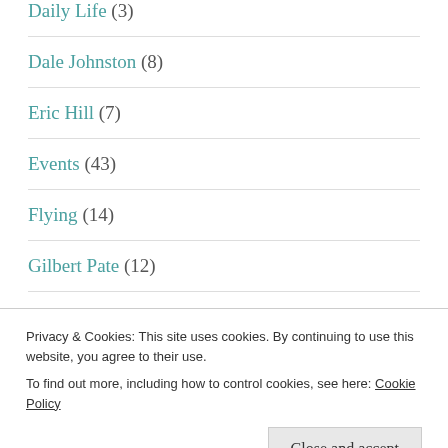Daily Life (3)
Dale Johnston (8)
Eric Hill (7)
Events (43)
Flying (14)
Gilbert Pate (12)
Halifax (4)
Privacy & Cookies: This site uses cookies. By continuing to use this website, you agree to their use.
To find out more, including how to control cookies, see here: Cookie Policy
Jack Purcell (20)